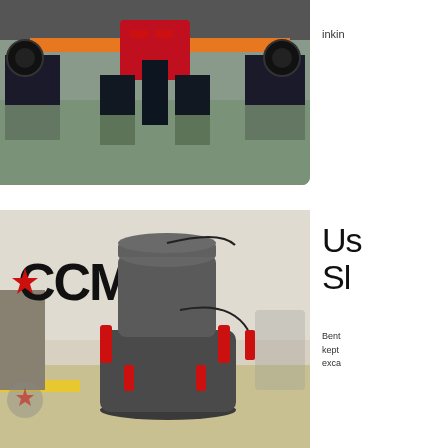[Figure (photo): Industrial machinery with red and black components on a reflective factory floor, viewed from front]
inkin
[Figure (photo): CCM branded cone crusher or similar heavy industrial mining/crushing machine with red hydraulic cylinders, in a workshop setting]
Us SI
Bent kept exca